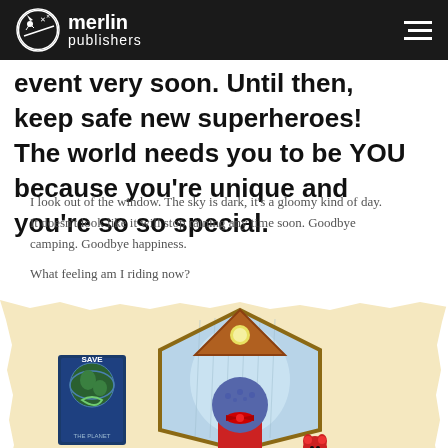merlin publishers
event very soon. Until then, keep safe new superheroes! The world needs you to be YOU because you're unique and you're so so special.
I look out of the window. The sky is dark, it's a gloomy kind of day. It doesn't look like it will stop raining any time soon. Goodbye camping. Goodbye happiness.
What feeling am I riding now?
[Figure (illustration): A child character with a round blue/purple head and red dress standing on a wooden chest looking out of a triangular window at rainy sky. A small red mouse toy sits beside them. A 'Save the Planet' poster is on the wall. The background has a torn-paper effect with orange/yellow tones.]